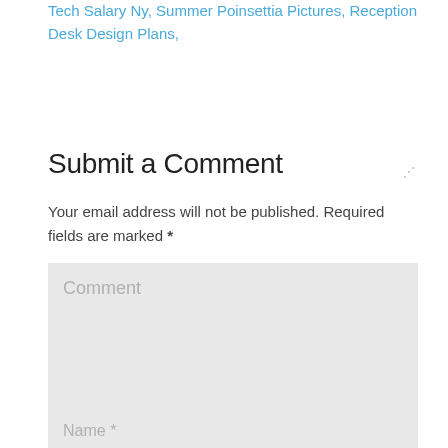Tech Salary Ny, Summer Poinsettia Pictures, Reception Desk Design Plans,
Submit a Comment
Your email address will not be published. Required fields are marked *
Comment
Name *